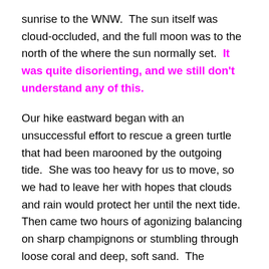sunrise to the WNW.  The sun itself was cloud-occluded, and the full moon was to the north of the where the sun normally set.  It was quite disorienting, and we still don't understand any of this.
Our hike eastward began with an unsuccessful effort to rescue a green turtle that had been marooned by the outgoing tide.  She was too heavy for us to move, so we had to leave her with hopes that clouds and rain would protect her until the next tide.  Then came two hours of agonizing balancing on sharp champignons or stumbling through loose coral and deep, soft sand.  The occasional stretches of turf were just enough reminder of normal walking to add frustration.  The final three hours went more smoothly, though an ill designed and badly fitting back pack made for maximum discomfort.  We did reach CC finally, about an hour after Meg and I went...